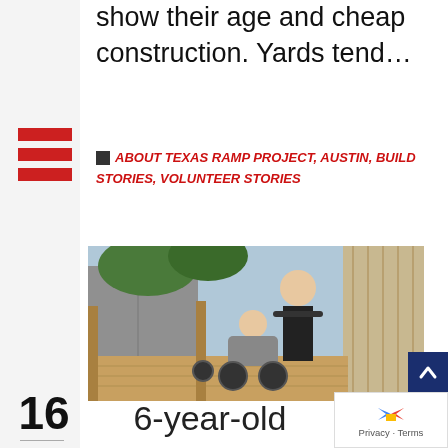show their age and cheap construction. Yards tend…
ABOUT TEXAS RAMP PROJECT, AUSTIN, BUILD STORIES, VOLUNTEER STORIES
[Figure (photo): Person pushing a child in a wheelchair/stroller up a wooden accessibility ramp, outdoors next to a building]
16
03 '17
0
6-year-old